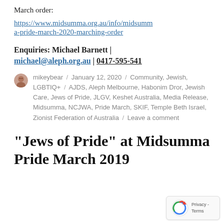March order:
https://www.midsumma.org.au/info/midsumma-pride-march-2020-marching-order
Enquiries: Michael Barnett | michael@aleph.org.au | 0417-595-541
mikeybear / January 12, 2020 / Community, Jewish, LGBTIQ+ / AJDS, Aleph Melbourne, Habonim Dror, Jewish Care, Jews of Pride, JLGV, Keshet Australia, Media Release, Midsumma, NCJWA, Pride March, SKIF, Temple Beth Israel, Zionist Federation of Australia / Leave a comment
“Jews of Pride” at Midsumma Pride March 2019